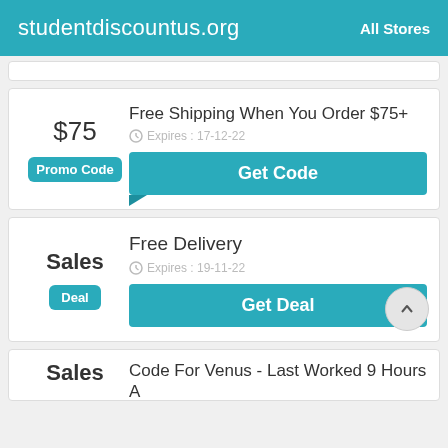studentdiscountus.org    All Stores
$75 | Promo Code | Free Shipping When You Order $75+ | Expires: 17-12-22 | Get Code
Sales | Deal | Free Delivery | Expires: 19-11-22 | Get Deal
Sales | Code For Venus - Last Worked 9 Hours Ago